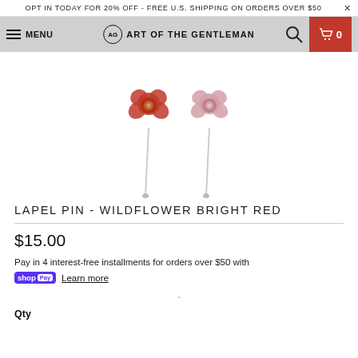OPT IN TODAY FOR 20% OFF - FREE U.S. SHIPPING ON ORDERS OVER $50 ×
MENU  AG ART OF THE GENTLEMAN  🔍  🛒 0
[Figure (photo): Two flower lapel pins on long metal stems — one bright red, one pink — against a white background]
LAPEL PIN - WILDFLOWER BRIGHT RED
$15.00
Pay in 4 interest-free installments for orders over $50 with shop Pay  Learn more
·
Qty